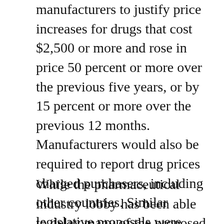manufacturers to justify price increases for drugs that cost $2,500 or more and rose in price 50 percent or more over the previous five years, or by 15 percent or more over the previous 12 months. Manufacturers would also be required to report drug prices charged purchasers, including other countries. Similar legislative proposals were introduced in Massachusetts, New York, Rhode Island, and Washington. Montana and Pennsylvania proposed to establish drug pricing task forces to study prescription drug prices.
While the pharmaceutical industry lobby has been able to delay many of the proposed drug pricing disclosure and transparency legislative